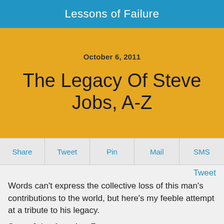Lessons of Failure
October 6, 2011
The Legacy Of Steve Jobs, A-Z
Share  Tweet  Pin  Mail  SMS
Tweet
Words can't express the collective loss of this man's contributions to the world, but here's my feeble attempt at a tribute to his legacy.
Steve Jobs, from A to Z:
Apple Computer